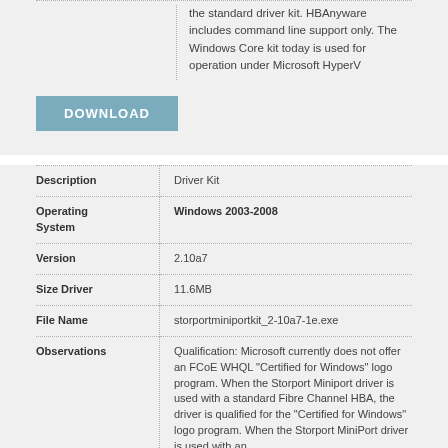the standard driver kit. HBAnyware includes command line support only. The Windows Core kit today is used for operation under Microsoft HyperV
[Figure (other): DOWNLOAD button]
| Field | Value |
| --- | --- |
| Description | Driver Kit |
| Operating System | Windows 2003-2008 |
| Version | 2.10a7 |
| Size Driver | 11.6MB |
| File Name | storportminiportkit_2-10a7-1e.exe |
| Observations | Qualification: Microsoft currently does not offer an FCoE WHQL "Certified for Windows" logo program. When the Storport Miniport driver is used with a standard Fibre Channel HBA, the driver is qualified for the "Certified for Windows" logo program. When the Storport MiniPort driver is used with an |